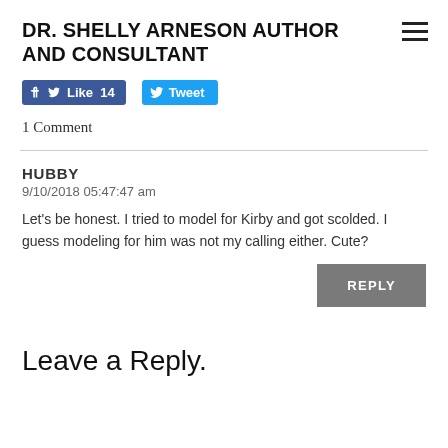DR. SHELLY ARNESON AUTHOR AND CONSULTANT
[Figure (other): Facebook Like button showing 14 likes and Twitter Tweet button]
1 Comment
HUBBY
9/10/2018 05:47:47 am
Let's be honest. I tried to model for Kirby and got scolded. I guess modeling for him was not my calling either. Cute?
REPLY
Leave a Reply.